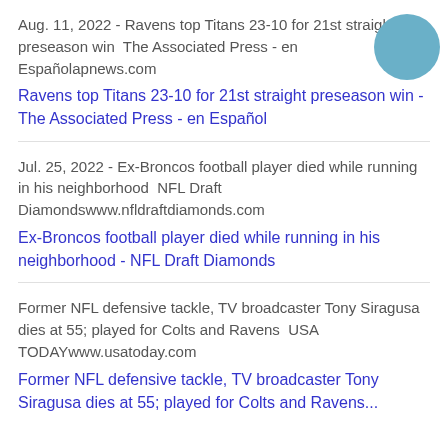Aug. 11, 2022 - Ravens top Titans 23-10 for 21st straight preseason win  The Associated Press - en Españolapnews.com
Ravens top Titans 23-10 for 21st straight preseason win - The Associated Press - en Español
Jul. 25, 2022 - Ex-Broncos football player died while running in his neighborhood  NFL Draft Diamondswww.nfldraftdiamonds.com
Ex-Broncos football player died while running in his neighborhood - NFL Draft Diamonds
Former NFL defensive tackle, TV broadcaster Tony Siragusa dies at 55; played for Colts and Ravens  USA TODAYwww.usatoday.com
Former NFL defensive tackle, TV broadcaster Tony Siragusa dies at 55; played for Colts and Ravens...